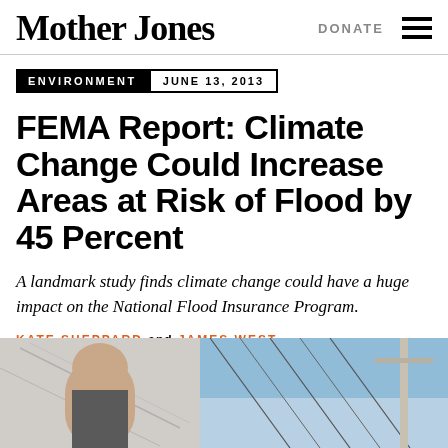Mother Jones
ENVIRONMENT  JUNE 13, 2013
FEMA Report: Climate Change Could Increase Areas at Risk of Flood by 45 Percent
A landmark study finds climate change could have a huge impact on the National Flood Insurance Program.
KATE SHEPPARD and JAMES WEST
[Figure (photo): Photo of a person outdoors, partially visible, with wires or cables visible in the background against a blue sky]